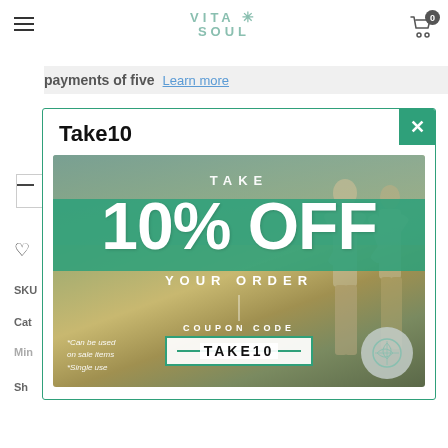VITA SOUL — navigation header with hamburger menu and cart icon (0 items)
payments of five Learn more
Take10
[Figure (infographic): Promotional popup showing '10% OFF YOUR ORDER' with coupon code TAKE10. Background photo of two women in a field with arms raised. Green banner behind '10% OFF'. Fine print: '*Can be used on sale items *Single use'. Vita Soul watermark logo bottom right.]
SKU
Cat
Min
Sh